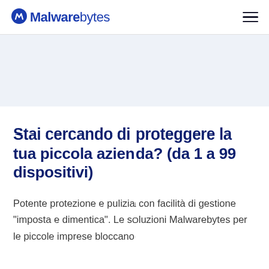Malwarebytes
Stai cercando di proteggere la tua piccola azienda? (da 1 a 99 dispositivi)
Potente protezione e pulizia con facilità di gestione "imposta e dimentica". Le soluzioni Malwarebytes per le piccole imprese bloccano